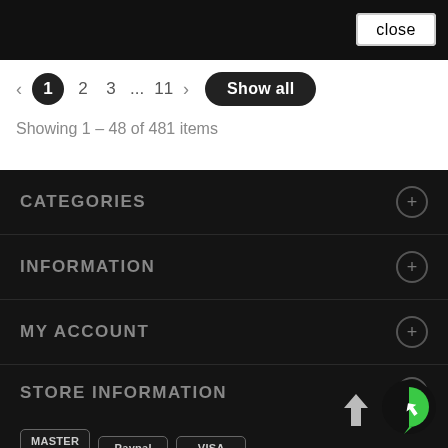close
1  2  3  ...  11  >  Show all
Showing 1 – 48 of 481 items
CATEGORIES
INFORMATION
MY ACCOUNT
STORE INFORMATION
[Figure (logo): Payment icons: MASTER CARD, Paypal, VISA]